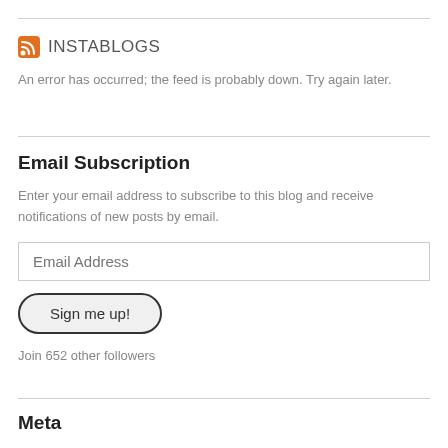INSTABLOGS
An error has occurred; the feed is probably down. Try again later.
Email Subscription
Enter your email address to subscribe to this blog and receive notifications of new posts by email.
Email Address
Sign me up!
Join 652 other followers
Meta